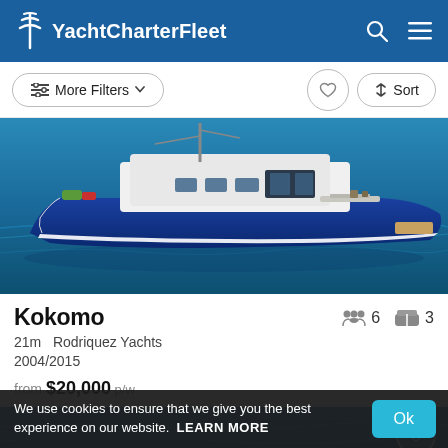YachtCharterFleet
More Filters  Sort
[Figure (photo): Blue motor yacht named Kokomo on the water, side view, white upper structure and blue hull]
Kokomo
6 guests  3 cabins
21m  Rodriquez Yachts
2004/2015
from $20,000 p/w
[Figure (photo): Partial view of a second yacht listing with blue ocean background]
We use cookies to ensure that we give you the best experience on our website.  LEARN MORE  Ok